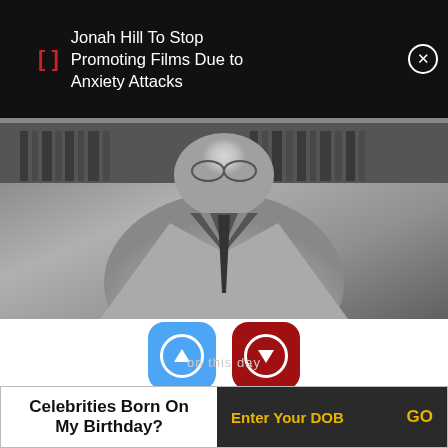Jonah Hill To Stop Promoting Films Due to Anxiety Attacks
[Figure (photo): Black and white photo of an older man in a suit with a tie, sitting in front of bookshelves]
156
32
Birthdate: January 3, 1892
Celebrities Born On My Birthday?
Enter Your DOB
GO